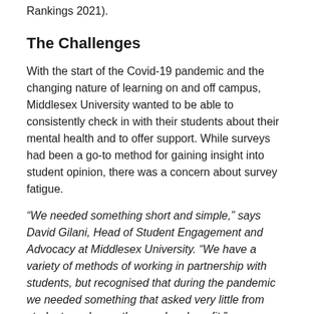Rankings 2021).
The Challenges
With the start of the Covid-19 pandemic and the changing nature of learning on and off campus, Middlesex University wanted to be able to consistently check in with their students about their mental health and to offer support. While surveys had been a go-to method for gaining insight into student opinion, there was a concern about survey fatigue.
“We needed something short and simple,” says David Gilani, Head of Student Engagement and Advocacy at Middlesex University. “We have a variety of methods of working in partnership with students, but recognised that during the pandemic we needed something that asked very little from students and gave them a clear benefit.”
As the University went in and out of lockdowns and the